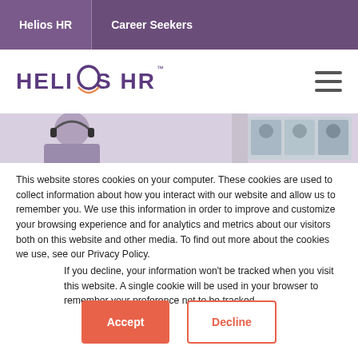Helios HR  Career Seekers
[Figure (logo): Helios HR logo with purple text and orange arc under the O, with hamburger menu icon on the right]
[Figure (photo): Hero image strip showing person with headphones and video call participants]
This website stores cookies on your computer. These cookies are used to collect information about how you interact with our website and allow us to remember you. We use this information in order to improve and customize your browsing experience and for analytics and metrics about our visitors both on this website and other media. To find out more about the cookies we use, see our Privacy Policy.
If you decline, your information won't be tracked when you visit this website. A single cookie will be used in your browser to remember your preference not to be tracked.
Accept  Decline